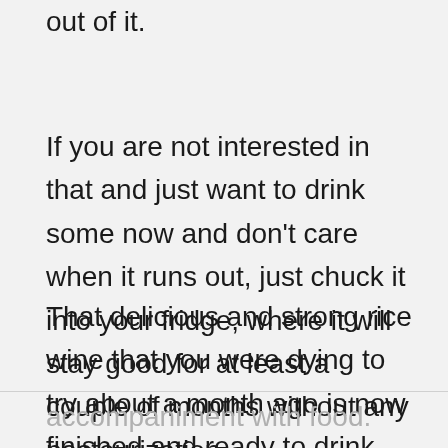out of it.
If you are not interested in that and just want to drink some now and don't care when it runs out, just chuck it into your fridge, where it will stay good for at least a couple of months without any pasteurization.
That delicious and strong rice wine that you were dying to try about a month ago is now finished and ready to drink. Now you just need to decide if you are going to drink it straight, try a mouthwatering cocktail or drink it as an
accompaniment with food.